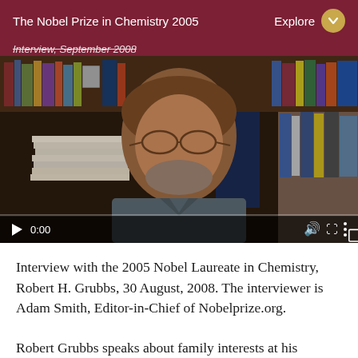The Nobel Prize in Chemistry 2005
[Figure (screenshot): Video player screenshot showing a middle-aged bearded man in glasses sitting in front of a bookshelf, with video controls showing 0:00 timestamp]
Interview with the 2005 Nobel Laureate in Chemistry, Robert H. Grubbs, 30 August, 2008. The interviewer is Adam Smith, Editor-in-Chief of Nobelprize.org.
Robert Grubbs speaks about family interests and his...